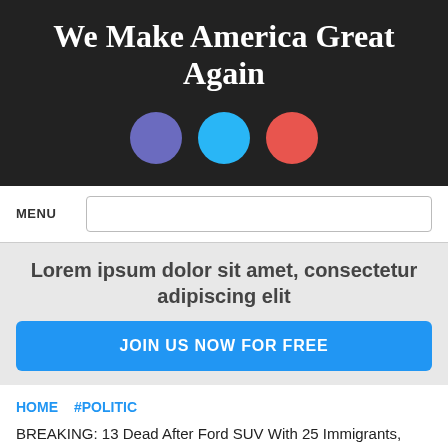We Make America Great Again
[Figure (infographic): Three social media icon circles: purple (Facebook), light blue (Twitter), red-orange (Google+)]
MENU
Lorem ipsum dolor sit amet, consectetur adipiscing elit
JOIN US NOW FOR FREE
HOME  #POLITIC
BREAKING: 13 Dead After Ford SUV With 25 Immigrants, Including Many Children, Pulls In Front Of Big Rig On Highway In Southern California